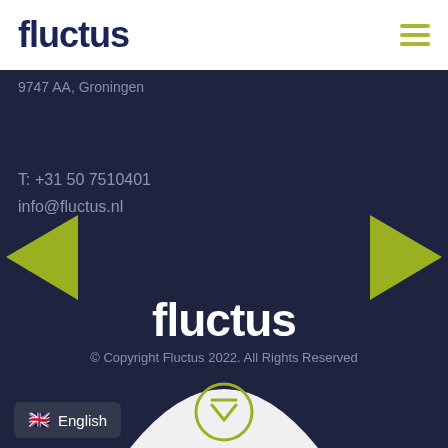fluctus
9747 AA, Groningen
T: +31 50 7510401
info@fluctus.nl
[Figure (other): Left-pointing triangle navigation arrow in yellow-green]
[Figure (other): Right-pointing triangle navigation arrow in yellow-green]
fluctus
© Copyright Fluctus 2022. All Rights Reserved
[Figure (other): White arch shape with a circular down-arrow scroll button]
English